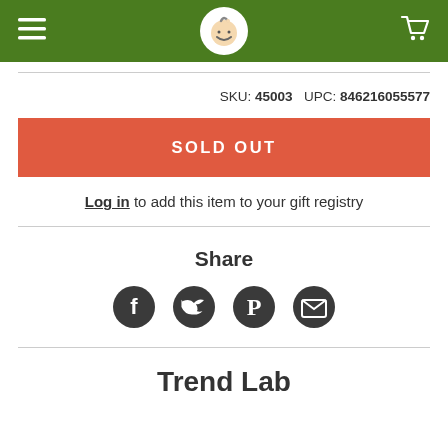Navigation header with logo, menu icon, and cart icon
SKU: 45003   UPC: 846216055577
SOLD OUT
Log in to add this item to your gift registry
Share
[Figure (infographic): Social share icons: Facebook, Twitter, Pinterest, Email]
Trend Lab